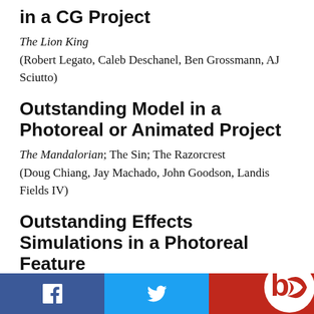in a CG Project
The Lion King
(Robert Legato, Caleb Deschanel, Ben Grossmann, AJ Sciutto)
Outstanding Model in a Photoreal or Animated Project
The Mandalorian; The Sin; The Razorcrest
(Doug Chiang, Jay Machado, John Goodson, Landis Fields IV)
Outstanding Effects Simulations in a Photoreal Feature
Star Wars: The Rise of Skywalker
(Dan Wang, Thibault Gaurier, Gonzalo Galuque, ...)
[Figure (logo): Social media share bar with Facebook, Twitter icons and site logo]